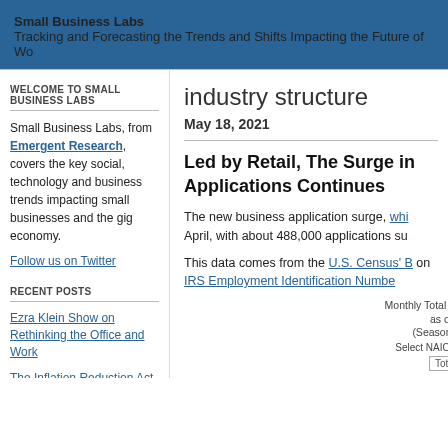Small Business Labs
Tracking and Forecasting the Trends and Shifts Impacting the Future of Work
WELCOME TO SMALL BUSINESS LABS
Small Business Labs, from Emergent Research, covers the key social, technology and business trends impacting small businesses and the gig economy.
Follow us on Twitter
RECENT POSTS
Ezra Klein Show on Rethinking the Office and Work
The Inflation Reduction Act
industry structure
May 18, 2021
Led by Retail, The Surge in Applications Continues
The new business application surge, whi... April, with about 488,000 applications su...
This data comes from the U.S. Census' B... on IRS Employment Identification Numbe...
[Figure (line-chart): Line chart showing Monthly Total Business Applications, partially visible. Y-axis shows 400K and 500K gridlines. NAICS selector shows 'Total'.]